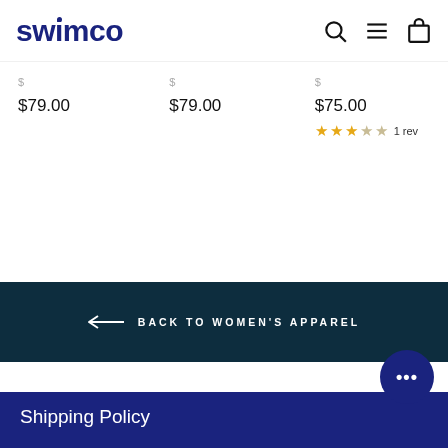swimco
$79.00
$79.00
$75.00  1 rev
← BACK TO WOMEN'S APPAREL
Shipping Policy